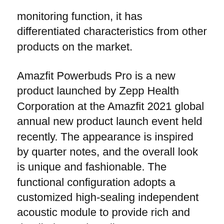monitoring function, it has differentiated characteristics from other products on the market.
Amazfit Powerbuds Pro is a new product launched by Zepp Health Corporation at the Amazfit 2021 global annual new product launch event held recently. The appearance is inspired by quarter notes, and the overall look is unique and fashionable. The functional configuration adopts a customized high-sealing independent acoustic module to provide rich and detailed sound quality. It supports ANC/side listening, has a variety of noise reduction modes including adaptive, and supports Sanmai AI call noise reduction.
In terms of health management function, it supports smart running recognition and automatically records exercise data, which can be viewed on the "ZEPP" APP.